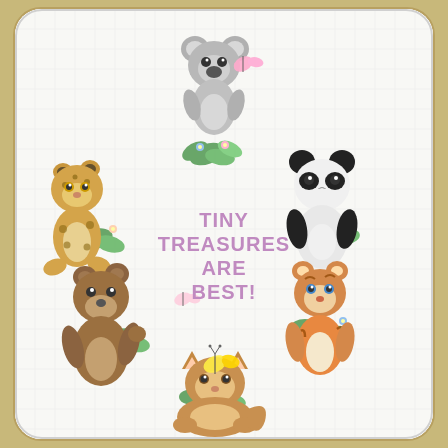[Figure (illustration): A white quilted baby blanket with rounded corners, decorated with six illustrated baby animals arranged in a circle: a cheetah cub (left), a koala (top center), a panda (right), a bear cub (lower left), a tiger cub (lower right), and a fox/cat cub (bottom center). Colorful flowers and green leaves surround the animals. Pink butterflies and a yellow butterfly are scattered around. In the center of the circle, the text reads TINY TREASURES ARE BEST! in purple/lavender letters.]